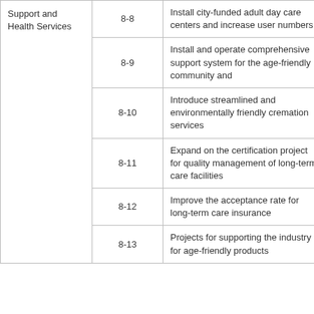| Category | No. | Description |  |
| --- | --- | --- | --- |
| Support and Health Services | 8-8 | Install city-funded adult day care centers and increase user numbers |  |
|  | 8-9 | Install and operate comprehensive support system for the age-friendly community and |  |
|  | 8-10 | Introduce streamlined and environmentally friendly cremation services |  |
|  | 8-11 | Expand on the certification project for quality management of long-term care facilities |  |
|  | 8-12 | Improve the acceptance rate for long-term care insurance |  |
|  | 8-13 | Projects for supporting the industry for age-friendly products |  |